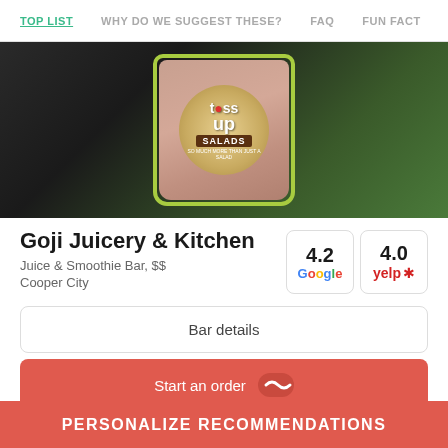TOP LIST  WHY DO WE SUGGEST THESE?  FAQ  FUN FACT
[Figure (photo): Photo of a Toss Up Salads drink cup with pink/mauve smoothie, green border, and Toss Up Salads logo on a wooden circle]
Goji Juicery & Kitchen
Juice & Smoothie Bar, $$
Cooper City
4.2 Google
4.0 yelp
Bar details
Start an order
PERSONALIZE RECOMMENDATIONS